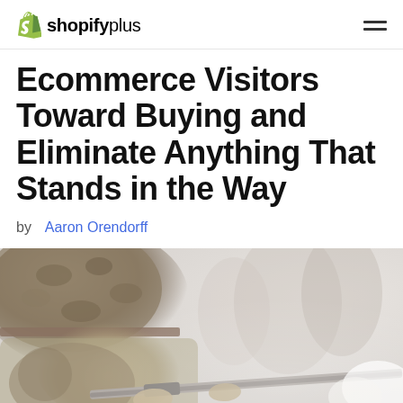shopify plus
Ecommerce Visitors Toward Buying and Eliminate Anything That Stands in the Way
by  Aaron Orendorff
[Figure (photo): Person wearing a camouflage hat aiming a rifle, outdoors in a wintry/misty setting]